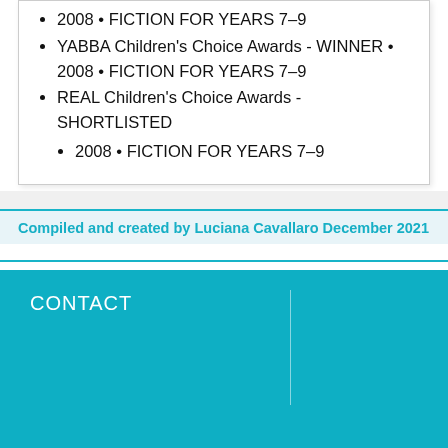2008 • FICTION FOR YEARS 7–9
YABBA Children's Choice Awards - WINNER • 2008 • FICTION FOR YEARS 7–9
REAL Children's Choice Awards - SHORTLISTED • 2008 • FICTION FOR YEARS 7–9
Compiled and created by Luciana Cavallaro December 2021
CONTACT